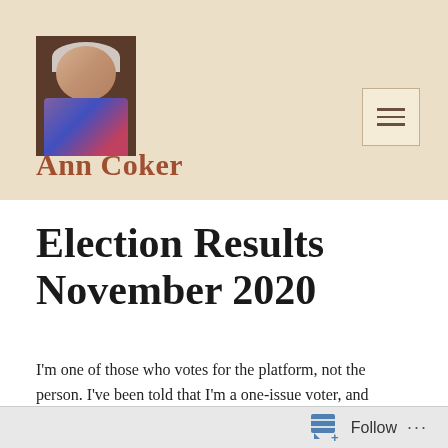[Figure (photo): Profile photo of an elderly woman with white/gray hair, wearing glasses and colorful clothing]
Ann Coker
[Figure (other): Hamburger menu icon — three horizontal lines inside a square border]
Election Results November 2020
I'm one of those who votes for the platform, not the person. I've been told that I'm a one-issue voter, and
Follow ···